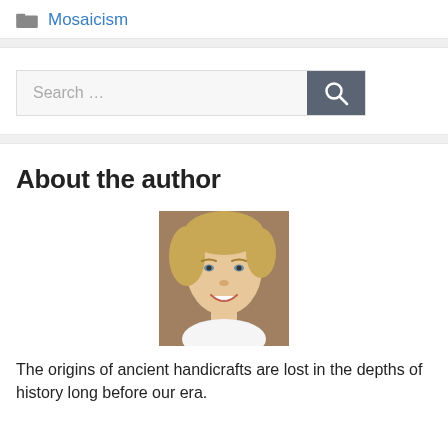Mosaicism
[Figure (screenshot): Search bar with text 'Search ...' and a dark grey search button with magnifying glass icon]
About the author
[Figure (photo): Headshot of a woman with short blonde hair, smiling, against a brownish background]
The origins of ancient handicrafts are lost in the depths of history long before our era.